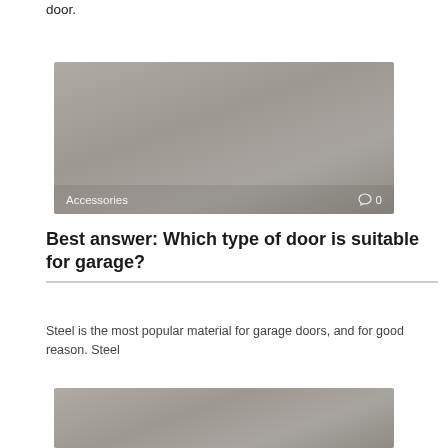door.
[Figure (photo): Gray placeholder image with 'Accessories' label and comment icon showing '0' in the lower area]
Best answer: Which type of door is suitable for garage?
Steel is the most popular material for garage doors, and for good reason. Steel
[Figure (photo): Gray placeholder image (partially visible at bottom of page)]